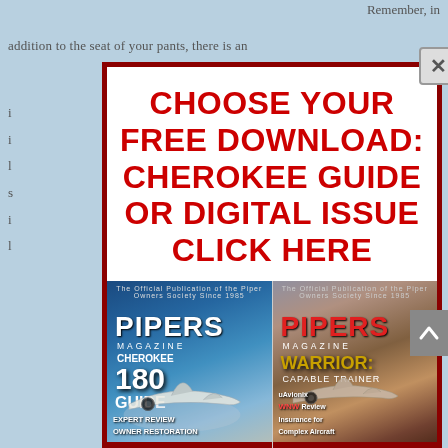Remember, in
addition to the seat of your pants, there is an
CHOOSE YOUR FREE DOWNLOAD: CHEROKEE GUIDE OR DIGITAL ISSUE CLICK HERE
[Figure (photo): Two Pipers Magazine covers side by side. Left cover: Cherokee 180 Guide edition with white Piper aircraft flying. Right cover: Warrior Capable Trainer edition with aircraft flying over landscape. Both feature 'PIPERS MAGAZINE' masthead.]
EXPERT REVIEW
OWNER RESTORATION
uAvionix WNW Review
Insurance for Complex Aircraft